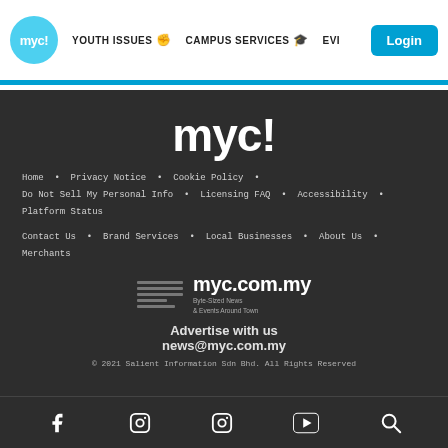myc! | YOUTH ISSUES | CAMPUS SERVICES | EVI | Login
[Figure (logo): myc! logo in white text on dark footer background]
Home • Privacy Notice • Cookie Policy • Do Not Sell My Personal Info • Licensing FAQ • Accessibility • Platform Status
Contact Us • Brand Services • Local Businesses • About Us • Merchants
[Figure (logo): myc.com.my badge with tagline Byte-Sized News & Events Around Town]
Advertise with us
news@myc.com.my
© 2021 Salient Information Sdn Bhd. All Rights Reserved
Social icons: Facebook, Instagram, Instagram, YouTube, Search